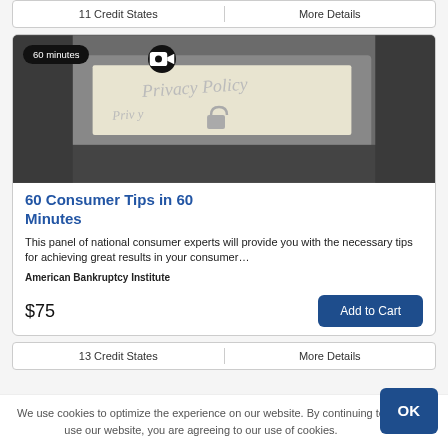11 Credit States | More Details
[Figure (photo): Photo of a typewriter with paper reading 'Privacy Policy', with badges showing '60 minutes' and a video camera icon overlaid]
60 Consumer Tips in 60 Minutes
This panel of national consumer experts will provide you with the necessary tips for achieving great results in your consumer…
American Bankruptcy Institute
$75
Add to Cart
13 Credit States | More Details
We use cookies to optimize the experience on our website. By continuing to use our website, you are agreeing to our use of cookies.